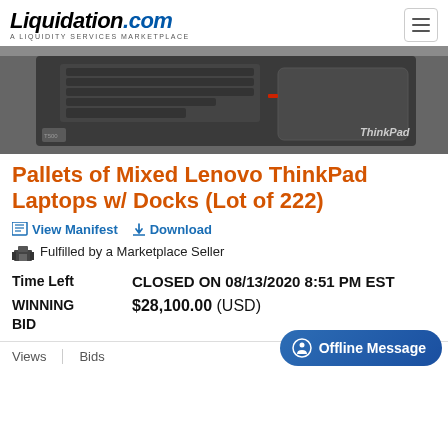Liquidation.com — A LIQUIDITY SERVICES MARKETPLACE
[Figure (photo): Close-up photo of a Lenovo ThinkPad laptop keyboard and trackpad, dark gray/black, ThinkPad logo visible on right]
Pallets of Mixed Lenovo ThinkPad Laptops w/ Docks (Lot of 222)
View Manifest   Download   Fulfilled by a Marketplace Seller
| Field | Value |
| --- | --- |
| Time Left | CLOSED ON 08/13/2020 8:51 PM EST |
| WINNING BID | $28,100.00 (USD) |
Views   Bids
Offline Message